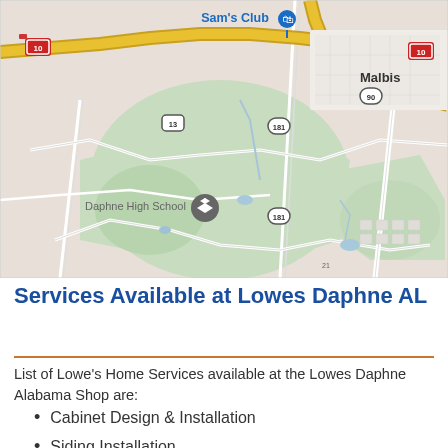[Figure (map): Google Maps view showing Malbis area in Alabama with roads including I-10, Highway 90, and Highway 181, Sam's Club location marker, and Daphne High School marker. Yellow roads (I-10) cross the top portion of the map.]
Services Available at Lowes Daphne AL
List of Lowe's Home Services available at the Lowes Daphne Alabama Shop are:
Cabinet Design & Installation
Siding Installation
Vanity Installation